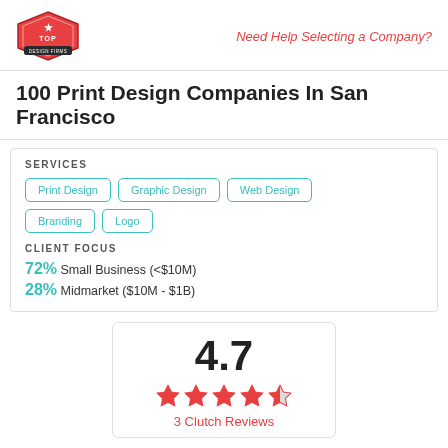[Figure (logo): Top Design Firms hexagonal logo in red with crown icon]
Need Help Selecting a Company?
100 Print Design Companies In San Francisco
SERVICES
Print Design
Graphic Design
Web Design
Branding
Logo
CLIENT FOCUS
72% Small Business (<$10M)
28% Midmarket ($10M - $1B)
4.7
3 Clutch Reviews